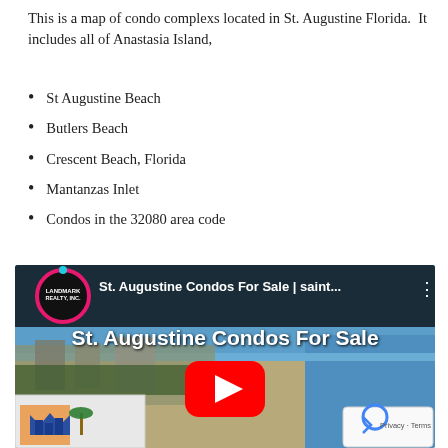This is a map of condo complexs located in St. Augustine Florida.  It includes all of Anastasia Island,
St Augustine Beach
Butlers Beach
Crescent Beach, Florida
Mantanzas Inlet
Condos in the 32080 area code
[Figure (screenshot): YouTube video thumbnail for 'St. Augustine Condos For Sale | saint...' showing an aerial view of St. Augustine Beach with a YouTube play button overlay and a Landmark Realty Inc. channel logo. Text reads 'St. Augustine Condos For Sale'. A reCAPTCHA badge appears in the lower right corner.]